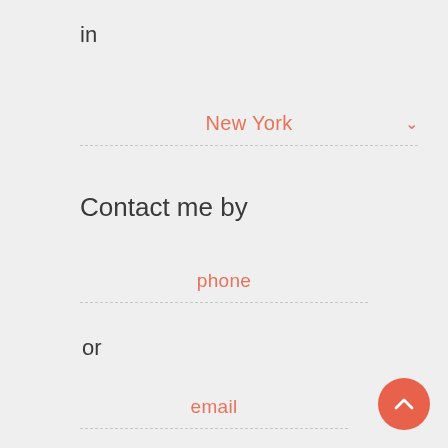in
New York
Contact me by
phone
or
email
Proceed With Quote
[Figure (other): Scroll-to-top circular button with chevron arrow]